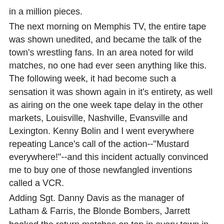in a million pieces. The next morning on Memphis TV, the entire tape was shown unedited, and became the talk of the town's wrestling fans. In an area noted for wild matches, no one had ever seen anything like this. The following week, it had become such a sensation it was shown again in it's entirety, as well as airing on the one week tape delay in the other markets, Louisville, Nashville, Evansville and Lexington. Kenny Bolin and I went everywhere repeating Lance's call of the action--"Mustard everywhere!"--and this incident actually convinced me to buy one of those newfangled inventions called a VCR. Adding Sgt. Danny Davis as the manager of Latham & Farris, the Blonde Bombers, Jarrett booked the return matches on top in every town in the territory, filling out the cards with local talent and running Tommy & Eddie Gilbert vs. Buddy & Ken Wayne as the only other real "program" on the cards. In Memphis, he brought Fargo back to offset Davis. The crowds in all the cities started to rise. By July 16, the Memphis crowd was near 7,000, and two weeks later, a triple main event of Bill Dundee vs. Nick Bockwinkle for the AWA Title, Jackie & Roughouse Fargo vs. the Bombers in a